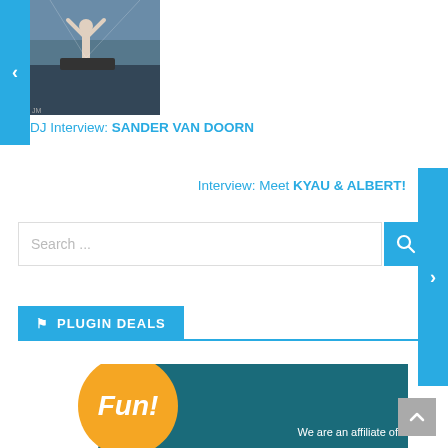[Figure (photo): DJ on stage with crowd, carousel slide]
DJ Interview: SANDER VAN DOORN
Interview: Meet KYAU & ALBERT!
[Figure (other): Search bar with search button]
PLUGIN DEALS
[Figure (other): Fun affiliate banner with orange circle and teal background saying 'We are an affiliate of']